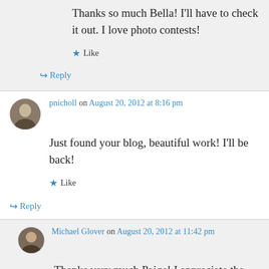Thanks so much Bella! I'll have to check it out. I love photo contests!
★ Like
↪ Reply
pnicholl on August 20, 2012 at 8:16 pm
Just found your blog, beautiful work! I'll be back!
★ Like
↪ Reply
Michael Glover on August 20, 2012 at 11:42 pm
Thanks very much Paige! I appreciate the